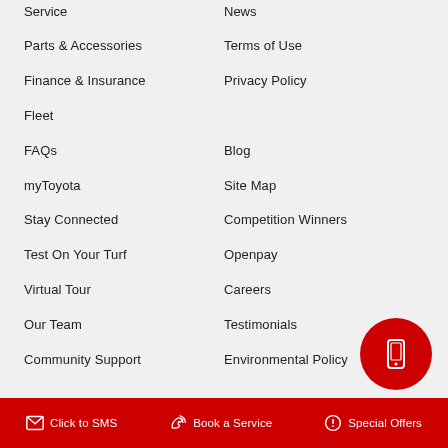Service
News
Parts & Accessories
Terms of Use
Finance & Insurance
Privacy Policy
Fleet
FAQs
Blog
myToyota
Site Map
Stay Connected
Competition Winners
Test On Your Turf
Openpay
Virtual Tour
Careers
Our Team
Testimonials
Community Support
Environmental Policy
Click to SMS   Book a Service   Special Offers